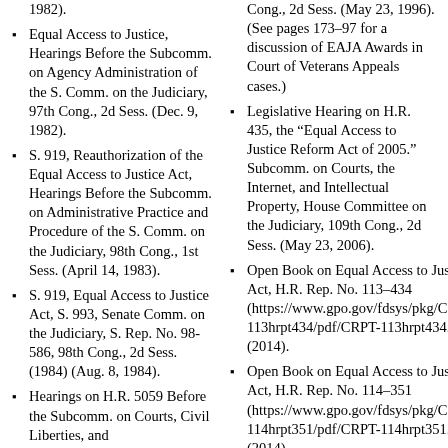1982).
Equal Access to Justice, Hearings Before the Subcomm. on Agency Administration of the S. Comm. on the Judiciary, 97th Cong., 2d Sess. (Dec. 9, 1982).
S. 919, Reauthorization of the Equal Access to Justice Act, Hearings Before the Subcomm. on Administrative Practice and Procedure of the S. Comm. on the Judiciary, 98th Cong., 1st Sess. (April 14, 1983).
S. 919, Equal Access to Justice Act, S. 993, Senate Comm. on the Judiciary, S. Rep. No. 98-586, 98th Cong., 2d Sess. (1984) (Aug. 8, 1984).
Hearings on H.R. 5059 Before the Subcomm. on Courts, Civil Liberties, and
Cong., 2d Sess. (May 23, 1996). (See pages 173–97 for a discussion of EAJA Awards in Court of Veterans Appeals cases.)
Legislative Hearing on H.R. 435, the “Equal Access to Justice Reform Act of 2005.” Subcomm. on Courts, the Internet, and Intellectual Property, House Committee on the Judiciary, 109th Cong., 2d Sess. (May 23, 2006).
Open Book on Equal Access to Justice Act, H.R. Rep. No. 113–434 (https://www.gpo.gov/fdsys/pkg/CRPT-113hrpt434/pdf/CRPT-113hrpt434.pdf) (2014).
Open Book on Equal Access to Justice Act, H.R. Rep. No. 114–351 (https://www.gpo.gov/fdsys/pkg/CRPT-114hrpt351/pdf/CRPT-114hrpt351.pdf) (2014).